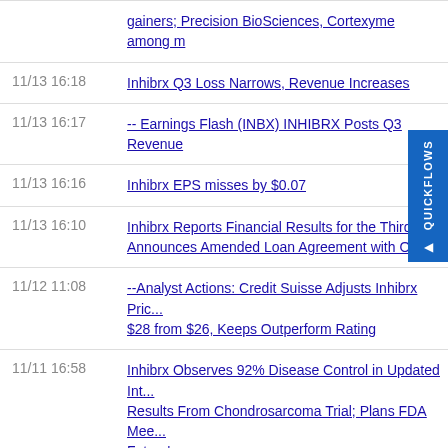gainers; Precision BioSciences, Cortexyme among m
11/13 16:18 — Inhibrx Q3 Loss Narrows, Revenue Increases
11/13 16:17 — -- Earnings Flash (INBX) INHIBRX Posts Q3 Revenue
11/13 16:16 — Inhibrx EPS misses by $0.07
11/13 16:10 — Inhibrx Reports Financial Results for the Third... Announces Amended Loan Agreement with O
11/12 11:08 — --Analyst Actions: Credit Suisse Adjusts Inhibrx Price $28 from $26, Keeps Outperform Rating
11/11 16:58 — Inhibrx Observes 92% Disease Control in Updated Int... Results From Chondrosarcoma Trial; Plans FDA Mee... Future'
11/05 16:05 — Inhibrx Announces Participation in Upcoming Investor... Scientific Conferences
09/14 09:29 — --Analyst Actions: Jefferies Starts Inhibrx at Buy With